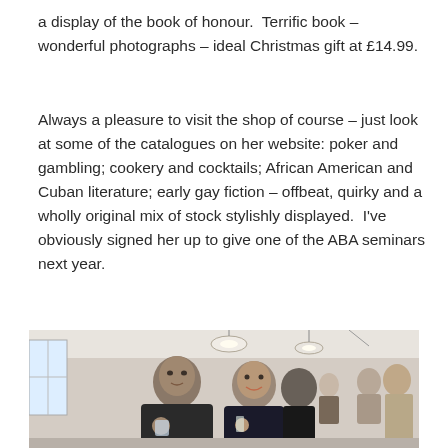a display of the book of honour.  Terrific book – wonderful photographs – ideal Christmas gift at £14.99.
Always a pleasure to visit the shop of course – just look at some of the catalogues on her website: poker and gambling; cookery and cocktails; African American and Cuban literature; early gay fiction – offbeat, quirky and a wholly original mix of stock stylishly displayed.  I've obviously signed her up to give one of the ABA seminars next year.
[Figure (photo): Indoor event/gathering photo showing several people socializing in a well-lit room, including a man in a dark jacket and a woman smiling, with lights visible on the ceiling.]